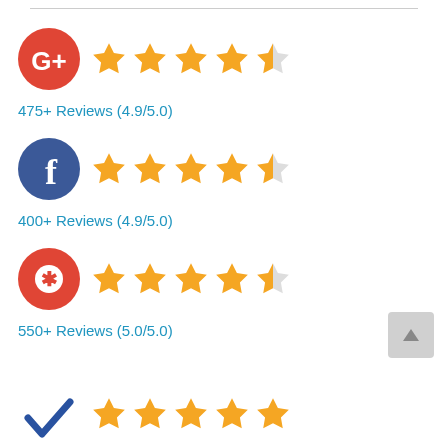[Figure (infographic): Google+ logo (red circle with G+ white text) followed by 4.5 gold stars rating]
475+ Reviews (4.9/5.0)
[Figure (infographic): Facebook logo (dark blue circle with white f) followed by 4.5 gold stars rating]
400+ Reviews (4.9/5.0)
[Figure (infographic): Yelp logo (red circle with white burst icon) followed by 4.5 gold stars rating]
550+ Reviews (5.0/5.0)
[Figure (infographic): Checkmark logo (partial, cut off at bottom) followed by gold stars rating (partial)]